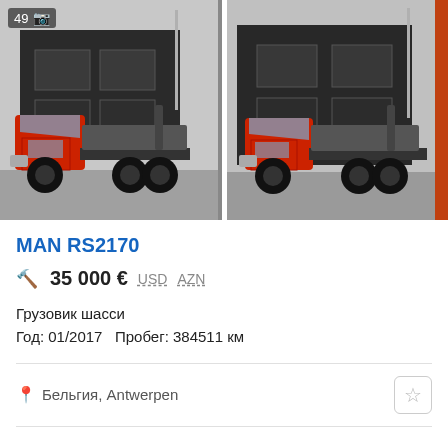[Figure (photo): Red MAN RS2170 truck chassis parked in front of a dark building, left side view. Photo badge shows '49' with camera icon.]
[Figure (photo): Same red MAN RS2170 truck chassis from a slightly different angle in front of the same dark building.]
MAN RS2170
35 000 €  USD  AZN
Грузовик шасси
Год: 01/2017   Пробег: 384511 км
Бельгия, Antwerpen